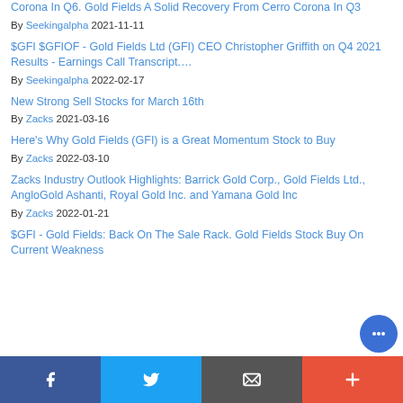Corona In Q6. Gold Fields A Solid Recovery From Cerro Corona In Q3
By Seekingalpha 2021-11-11
$GFI $GFIOF - Gold Fields Ltd (GFI) CEO Christopher Griffith on Q4 2021 Results - Earnings Call Transcript.…
By Seekingalpha 2022-02-17
New Strong Sell Stocks for March 16th
By Zacks 2021-03-16
Here's Why Gold Fields (GFI) is a Great Momentum Stock to Buy
By Zacks 2022-03-10
Zacks Industry Outlook Highlights: Barrick Gold Corp., Gold Fields Ltd., AngloGold Ashanti, Royal Gold Inc. and Yamana Gold Inc
By Zacks 2022-01-21
$GFI - Gold Fields: Back On The Sale Rack. Gold Fields Stock Buy On Current Weakness